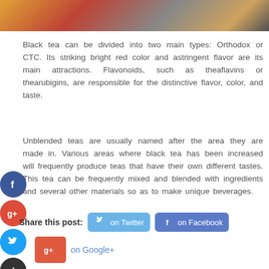[Figure (photo): Partial photo of tea packaging and tea leaves on a tray, cropped at top of page]
Black tea can be divided into two main types: Orthodox or CTC. Its striking bright red color and astringent flavor are its main attractions. Flavonoids, such as theaflavins or thearubigins, are responsible for the distinctive flavor, color, and taste.
Unblended teas are usually named after the area they are made in. Various areas where black tea has been increased will frequently produce teas that have their own different tastes. This tea can be frequently mixed and blended with ingredients and several other materials so as to make unique beverages.
Share this post:  on Twitter  on Facebook  on Google+